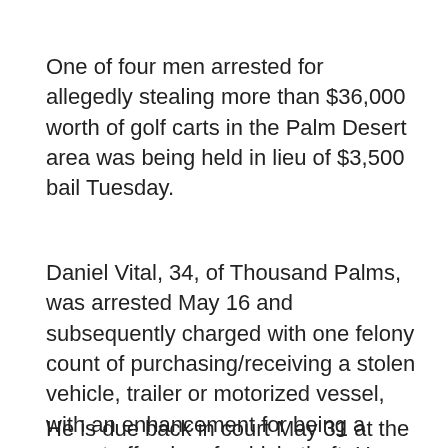One of four men arrested for allegedly stealing more than $36,000 worth of golf carts in the Palm Desert area was being held in lieu of $3,500 bail Tuesday.
Daniel Vital, 34, of Thousand Palms, was arrested May 16 and subsequently charged with one felony count of purchasing/receiving a stolen vehicle, trailer or motorized vessel, with an enhancement for being a repeat offender of vehicle theft. He pleaded not guilty on Friday.
He is due back in court May 31 at the Larson